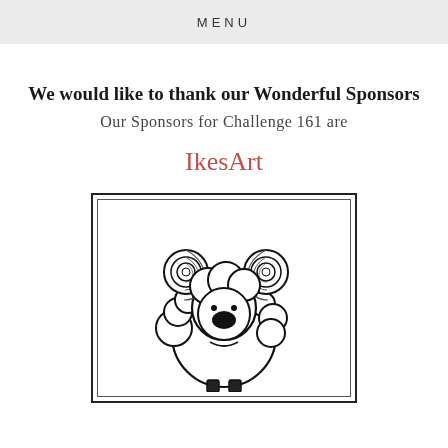MENU
We would like to thank our Wonderful Sponsors
Our Sponsors for Challenge 161 are
IkesArt
[Figure (illustration): A cartoon drawing of a fluffy ram/sheep with large spiraling horns, a round body covered in wool, small dot eyes, a large black oval nose/mouth, and hooves at the bottom. The image is enclosed in a double-bordered frame.]